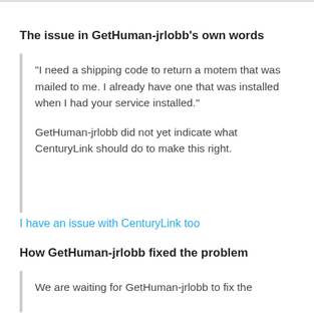The issue in GetHuman-jrlobb's own words
"I need a shipping code to return a motem that was mailed to me. I already have one that was installed when I had your service installed."
GetHuman-jrlobb did not yet indicate what CenturyLink should do to make this right.
I have an issue with CenturyLink too
How GetHuman-jrlobb fixed the problem
We are waiting for GetHuman-jrlobb to fix the